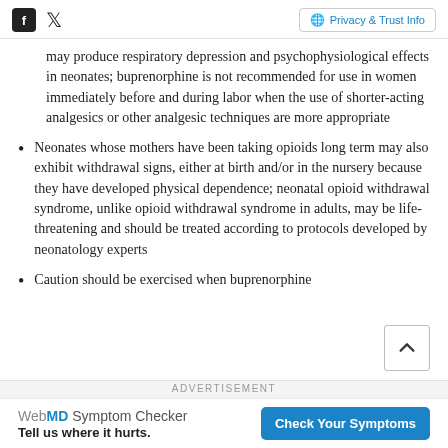Facebook Twitter | Privacy & Trust Info
may produce respiratory depression and psychophysiological effects in neonates; buprenorphine is not recommended for use in women immediately before and during labor when the use of shorter-acting analgesics or other analgesic techniques are more appropriate
Neonates whose mothers have been taking opioids long term may also exhibit withdrawal signs, either at birth and/or in the nursery because they have developed physical dependence; neonatal opioid withdrawal syndrome, unlike opioid withdrawal syndrome in adults, may be life-threatening and should be treated according to protocols developed by neonatology experts
Caution should be exercised when buprenorphine
ADVERTISEMENT
WebMD Symptom Checker — Tell us where it hurts. — Check Your Symptoms